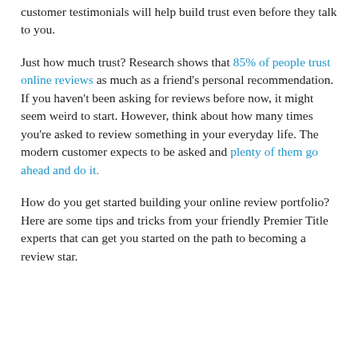customer testimonials will help build trust even before they talk to you.
Just how much trust? Research shows that 85% of people trust online reviews as much as a friend's personal recommendation. If you haven't been asking for reviews before now, it might seem weird to start. However, think about how many times you're asked to review something in your everyday life. The modern customer expects to be asked and plenty of them go ahead and do it.
How do you get started building your online review portfolio? Here are some tips and tricks from your friendly Premier Title experts that can get you started on the path to becoming a review star.